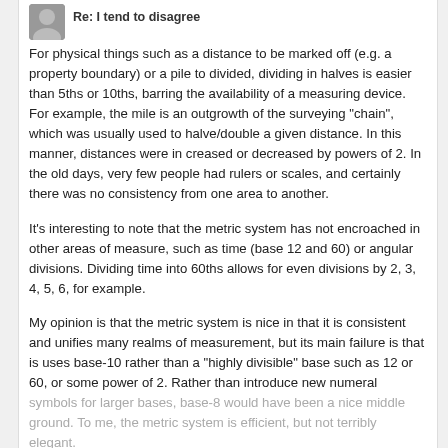Re: I tend to disagree
For physical things such as a distance to be marked off (e.g. a property boundary) or a pile to divided, dividing in halves is easier than 5ths or 10ths, barring the availability of a measuring device. For example, the mile is an outgrowth of the surveying "chain", which was usually used to halve/double a given distance. In this manner, distances were in creased or decreased by powers of 2. In the old days, very few people had rulers or scales, and certainly there was no consistency from one area to another.
It's interesting to note that the metric system has not encroached in other areas of measure, such as time (base 12 and 60) or angular divisions. Dividing time into 60ths allows for even divisions by 2, 3, 4, 5, 6, for example.
My opinion is that the metric system is nice in that it is consistent and unifies many realms of measurement, but its main failure is that is uses base-10 rather than a "highly divisible" base such as 12 or 60, or some power of 2. Rather than introduce new numeral symbols for larger bases, base-8 would have been a nice middle ground. To me, the metric system is efficient, but not terribly elegant.